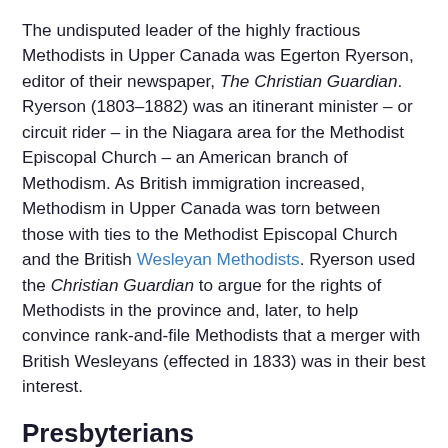The undisputed leader of the highly fractious Methodists in Upper Canada was Egerton Ryerson, editor of their newspaper, The Christian Guardian. Ryerson (1803–1882) was an itinerant minister – or circuit rider – in the Niagara area for the Methodist Episcopal Church – an American branch of Methodism. As British immigration increased, Methodism in Upper Canada was torn between those with ties to the Methodist Episcopal Church and the British Wesleyan Methodists. Ryerson used the Christian Guardian to argue for the rights of Methodists in the province and, later, to help convince rank-and-file Methodists that a merger with British Wesleyans (effected in 1833) was in their best interest.
Presbyterians
Main article: Presbyterian Church in Canada
The earliest Presbyterian ministers in Upper Canada came from various denominations based in Scotland, Ireland, and the United States. The "Presbytery of the